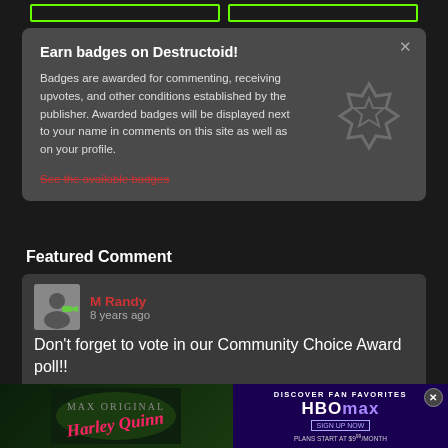[Figure (screenshot): Two green-outlined button placeholders at top of page]
Earn badges on Destructoid!

Badges are awarded for commenting, receiving upvotes, and other conditions established by the publisher. Awarded badges will be displayed next to your name in comments on this site as well as on your profile.

See the available badges
Featured Comment
M Randy
8 years ago
Don't forget to vote in our Community Choice Award poll!!
[Figure (screenshot): HBO Max advertisement banner at bottom showing Harley Quinn show and subscription offer]